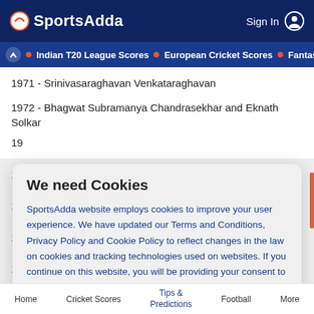SportsAdda | Sign In
Indian T20 League Scores • European Cricket Scores • Fantasy C
1971 - Srinivasaraghavan Venkataraghavan
1972 - Bhagwat Subramanya Chandrasekhar and Eknath Solkar
19
19
19
19
19
We need Cookies
SportsAdda website employs cookies to improve your user experience. We have updated our Terms and Conditions, Privacy Policy and Cookie Policy to reflect changes in the law on cookies and tracking technologies used on websites. If you continue on this website, you will be providing your consent to our use of cookies.
Home | Cricket Scores | Tips & Predictions | Football | More